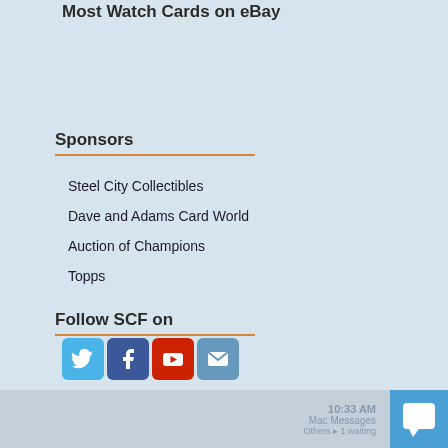Most Watch Cards on eBay
Sponsors
Steel City Collectibles
Dave and Adams Card World
Auction of Champions
Topps
Follow SCF on
[Figure (infographic): Social media icons: Twitter (blue bird), Facebook (blue f), YouTube (red play button), Email (envelope icon)]
10:33 AM  Mac Messages